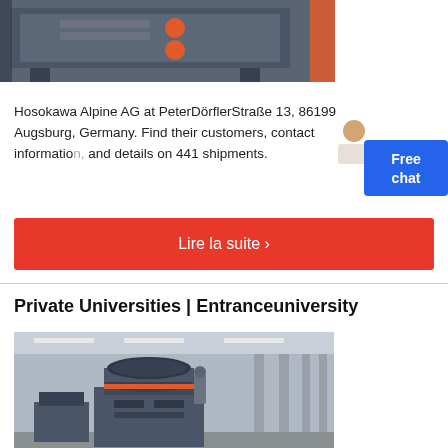[Figure (photo): Industrial machine (likely a crusher or mill) in dark grey/blue color with orange accents, photographed in an industrial setting]
Hosokawa Alpine AG at PeterDörflerStraße 13, 86199 Augsburg, Germany. Find their customers, contact information, and details on 441 shipments.
Lire la suite ›
Private Universities | Entranceuniversity
[Figure (photo): Industrial milling/grinding machine in a factory setting with high ceilings and structural columns]